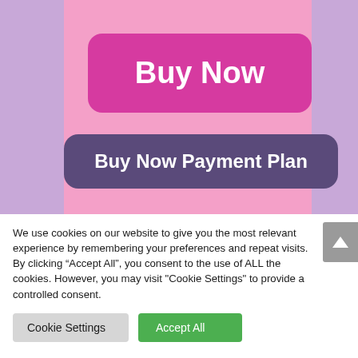[Figure (screenshot): Website screenshot showing two call-to-action buttons on a pink and lavender background: a bright pink 'Buy Now' button and a dark purple 'Buy Now Payment Plan' button]
We use cookies on our website to give you the most relevant experience by remembering your preferences and repeat visits. By clicking “Accept All”, you consent to the use of ALL the cookies. However, you may visit "Cookie Settings" to provide a controlled consent.
Cookie Settings
Accept All